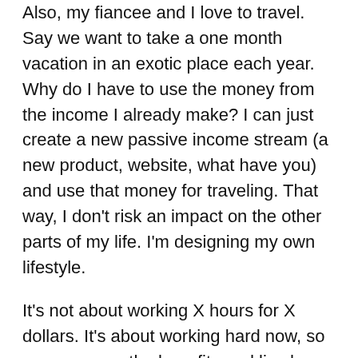Also, my fiancee and I love to travel. Say we want to take a one month vacation in an exotic place each year. Why do I have to use the money from the income I already make? I can just create a new passive income stream (a new product, website, what have you) and use that money for traveling. That way, I don't risk an impact on the other parts of my life. I'm designing my own lifestyle.
It's not about working X hours for X dollars. It's about working hard now, so you can reap the benefits and live how you want to, later. Earning passive income creates freedom.
It's definitely easier said than done, obviously – but with some hard work and determination, we'll